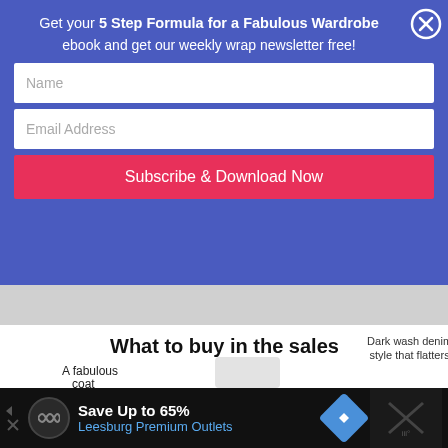Get your 5 Step Formula for a Fabulous Wardrobe ebook and get our weekly wrap newsletter free!
[Figure (screenshot): Email signup form with Name and Email Address input fields and a pink Subscribe & Download Now button on a blue background, with an X close button]
[Figure (infographic): What to buy in the sales - infographic showing a fabulous coat (grey trench coat), dark wash denim in a style that flatters you (dark jeans), and cardigan/blouse clothing items]
[Figure (screenshot): Advertisement banner: Save Up to 65% Leesburg Premium Outlets with logo and navigation arrow icons on black background]